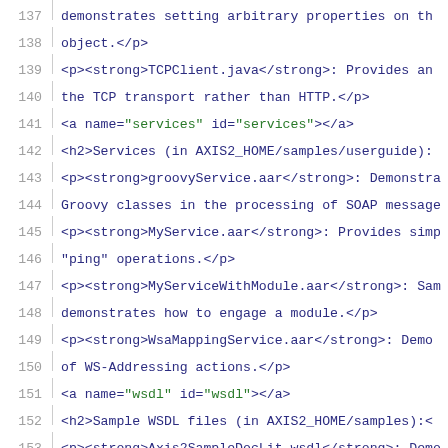137   demonstrates setting arbitrary properties on th
138   object.</p>
139   <p><strong>TCPClient.java</strong>: Provides an
140   the TCP transport rather than HTTP.</p>
141   <a name="services" id="services"></a>
142   <h2>Services (in AXIS2_HOME/samples/userguide):
143   <p><strong>groovyService.aar</strong>: Demonstra
144   Groovy classes in the processing of SOAP message
145   <p><strong>MyService.aar</strong>: Provides simp
146   "ping" operations.</p>
147   <p><strong>MyServiceWithModule.aar</strong>: Sam
148   demonstrates how to engage a module.</p>
149   <p><strong>WsaMappingService.aar</strong>: Demo
150   of WS-Addressing actions.</p>
151   <a name="wsdl" id="wsdl"></a>
152   <h2>Sample WSDL files (in AXIS2_HOME/samples):<
153   <p><strong>Axis2SampleDocLit.wsdl</strong>: Demo
154   the Document/Literal WSDL pattern, rather than R
155   <p><strong>perf.wsdl</strong>: Demonstrates the
156   as input values.</p>
157   <a name="others" id="others"></a>